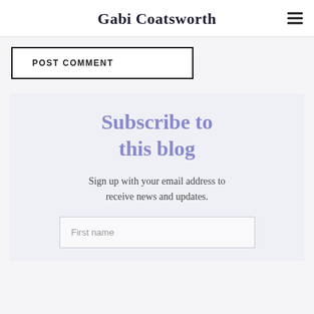Gabi Coatsworth
POST COMMENT
Subscribe to this blog
Sign up with your email address to receive news and updates.
First name